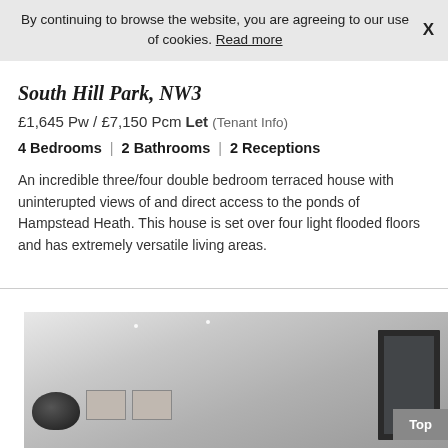By continuing to browse the website, you are agreeing to our use of cookies. Read more  X
South Hill Park, NW3
£1,645 Pw / £7,150 Pcm Let (Tenant Info)
4 Bedrooms | 2 Bathrooms | 2 Receptions
An incredible three/four double bedroom terraced house with uninterupted views of and direct access to the ponds of Hampstead Heath. This house is set over four light flooded floors and has extremely versatile living areas.
[Figure (photo): Interior photo of a modern bright room with white ceiling, dark-framed windows/doors, framed pictures on the wall, and a dark wicker basket]